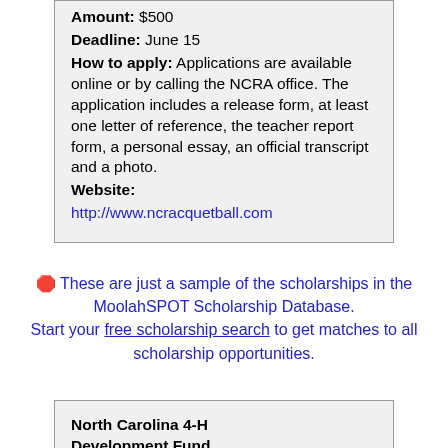Amount: $500
Deadline: June 15
How to apply: Applications are available online or by calling the NCRA office. The application includes a release form, at least one letter of reference, the teacher report form, a personal essay, an official transcript and a photo.
Website:
http://www.ncracquetball.com
These are just a sample of the scholarships in the MoolahSPOT Scholarship Database. Start your free scholarship search to get matches to all scholarship opportunities.
North Carolina 4-H Development Fund